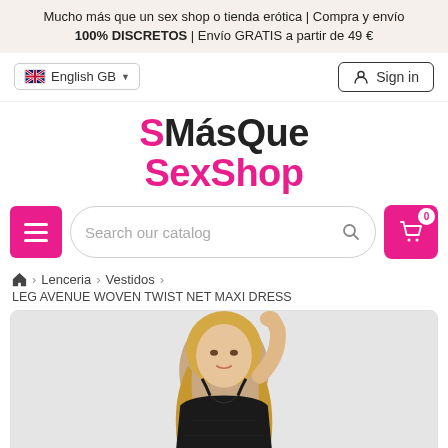Mucho más que un sex shop o tienda erótica | Compra y envío 100% DISCRETOS | Envío GRATIS a partir de 49 €
English GB
Sign in
MásQueSexShop
Search our catalog
🏠 > Lenceria > Vestidos > LEG AVENUE WOVEN TWIST NET MAXI DRESS
[Figure (photo): A blonde woman wearing a black lingerie maxi dress, posing with her arm raised near her head. The product is LEG AVENUE WOVEN TWIST NET MAXI DRESS.]